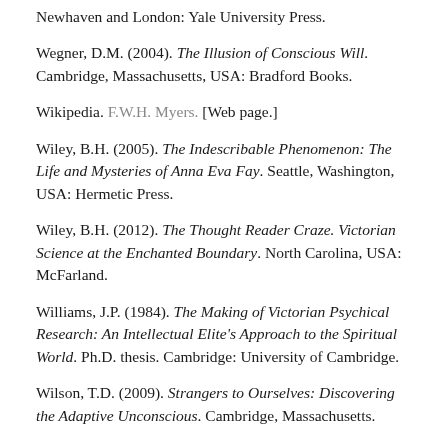Newhaven and London: Yale University Press.
Wegner, D.M. (2004). The Illusion of Conscious Will. Cambridge, Massachusetts, USA: Bradford Books.
Wikipedia. F.W.H. Myers. [Web page.]
Wiley, B.H. (2005). The Indescribable Phenomenon: The Life and Mysteries of Anna Eva Fay. Seattle, Washington, USA: Hermetic Press.
Wiley, B.H. (2012). The Thought Reader Craze. Victorian Science at the Enchanted Boundary. North Carolina, USA: McFarland.
Williams, J.P. (1984). The Making of Victorian Psychical Research: An Intellectual Elite's Approach to the Spiritual World. Ph.D. thesis. Cambridge: University of Cambridge.
Wilson, T.D. (2009). Strangers to Ourselves: Discovering the Adaptive Unconscious. Cambridge, Massachusetts.